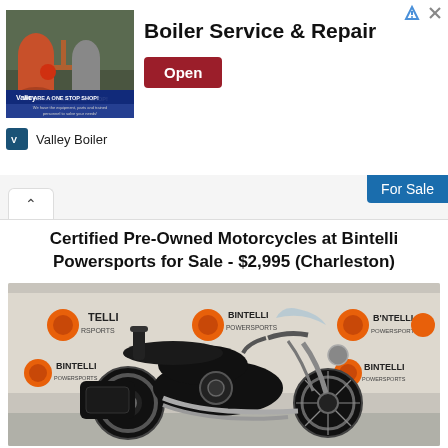[Figure (screenshot): Boiler Service & Repair advertisement banner with industrial boiler image on left, bold title text 'Boiler Service & Repair', red 'Open' button, and 'Valley Boiler' sponsor label below]
For Sale
Certified Pre-Owned Motorcycles at Bintelli Powersports for Sale - $2,995 (Charleston)
[Figure (photo): Black cruiser motorcycle (Kawasaki Vulcan style) displayed in front of a Bintelli Powersports branded backdrop, showing saddlebags, chrome exhaust, and windshield]